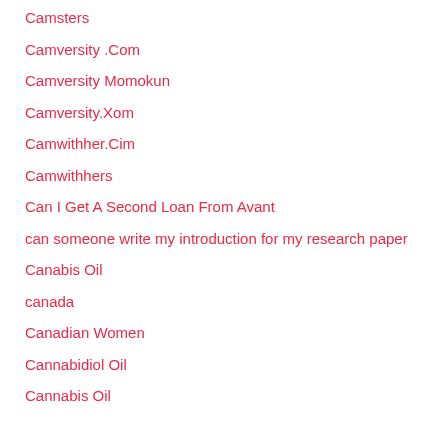Camsters
Camversity .Com
Camversity Momokun
Camversity.Xom
Camwithher.Cim
Camwithhers
Can I Get A Second Loan From Avant
can someone write my introduction for my research paper
Canabis Oil
canada
Canadian Women
Cannabidiol Oil
Cannabis Oil